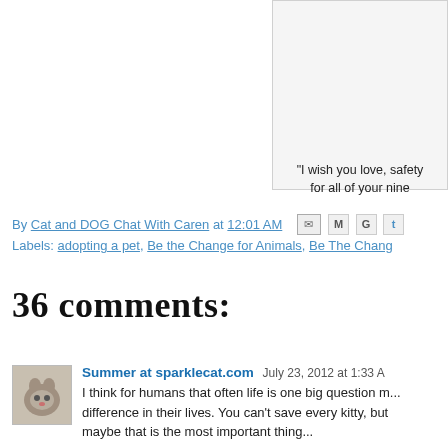[Figure (illustration): Partial view of a box/sidebar with a quote about nine lives, cropped at top-right of page]
"I wish you love, safety for all of your nine
By Cat and DOG Chat With Caren at 12:01 AM
Labels: adopting a pet, Be the Change for Animals, Be The Chang...
36 comments:
Summer at sparklecat.com July 23, 2012 at 1:33 A...
I think for humans that often life is one big question m... difference in their lives. You can't save every kitty, but... maybe that is the most important thing...